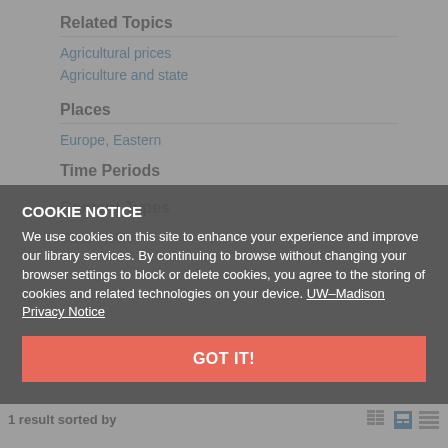Related Topics
Agricultural prices
Agriculture and state
Places
Europe, Eastern
Time Periods
Content Types
Case studies
COOKIE NOTICE
We use cookies on this site to enhance your experience and improve our library services. By continuing to browse without changing your browser settings to block or delete cookies, you agree to the storing of cookies and related technologies on your device. UW–Madison Privacy Notice
GOT IT!
1 result sorted by Author